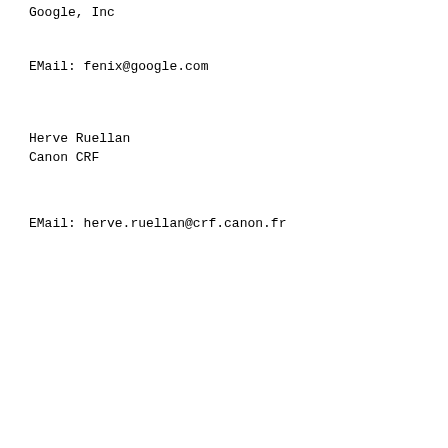Google, Inc
EMail: fenix@google.com
Herve Ruellan
Canon CRF
EMail: herve.ruellan@crf.canon.fr